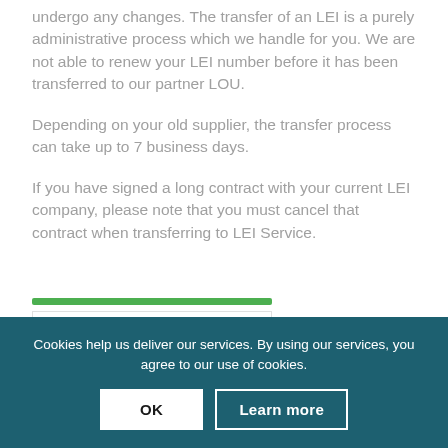undergo any changes. The transfer of an LEI is a purely administrative process which we handle for you. We are not able to renew your LEI number before it has been transferred to our partner LOU.
Depending on your old supplier, the transfer process can take up to 7 business days.
If you have signed a long contract with your current LEI company, please note that you must cancel that contract when transferring to LEI Service.
[Figure (other): Trustpilot rating widget showing a green bar at top, 'Trustpilot Rating' label, a star icon, score '4.9/5.0', and 'Based on 98 reviews' text, partially visible/faded]
Cookies help us deliver our services. By using our services, you agree to our use of cookies.